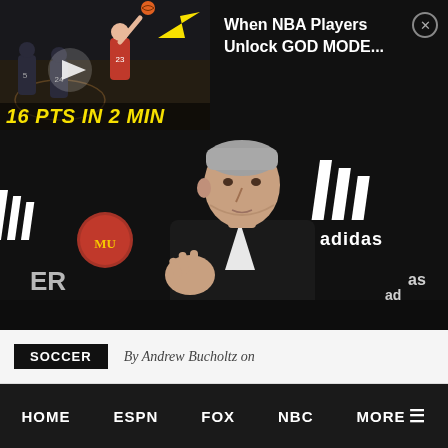[Figure (screenshot): Basketball game thumbnail showing NBA players on court with yellow arrow pointing to player, play button overlay, text '16 PTS IN 2 MIN' in yellow italic bold font]
[Figure (screenshot): Black panel video recommendation with white text 'When NBA Players Unlock GOD MODE...' and X close button]
[Figure (photo): Soccer/football press conference photo showing a man (Jose Mourinho) in black sweater gesturing with hand, Manchester United and Adidas branding visible in background]
SOCCER
By Andrew Bucholtz on
HOME  ESPN  FOX  NBC  MORE